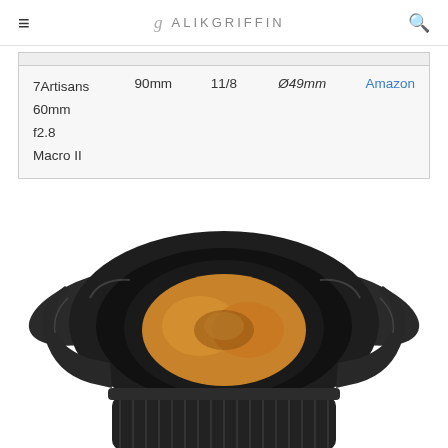≡  g  ALIKGRIFFIN  🔍
| Brand | Focal | Blades | Filter | Link |
| --- | --- | --- | --- | --- |
| 7Artisans 60mm f2.8 Macro II | 90mm | 11/8 | Ø49mm | Amazon |
[Figure (photo): Front view of a black fisheye/ultra-wide camera lens with petal-style lens hood, showing amber-tinted front element, viewed from directly in front. The lens appears to be a wide-angle or fisheye lens with a distinctive flower-shaped hood. The body is matte black with a knurled focus ring visible at the bottom.]